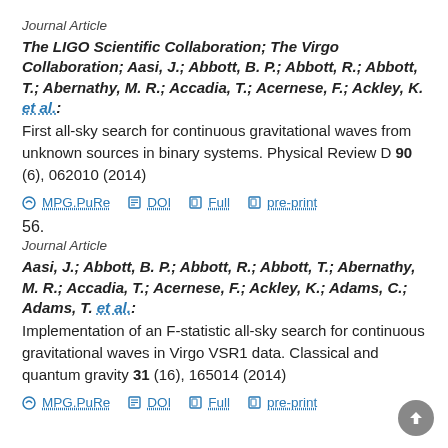Journal Article
The LIGO Scientific Collaboration; The Virgo Collaboration; Aasi, J.; Abbott, B. P.; Abbott, R.; Abbott, T.; Abernathy, M. R.; Accadia, T.; Acernese, F.; Ackley, K. et al.: First all-sky search for continuous gravitational waves from unknown sources in binary systems. Physical Review D 90 (6), 062010 (2014)
MPG.PuRe  DOI  Full  pre-print
56.
Journal Article
Aasi, J.; Abbott, B. P.; Abbott, R.; Abbott, T.; Abernathy, M. R.; Accadia, T.; Acernese, F.; Ackley, K.; Adams, C.; Adams, T. et al.: Implementation of an F-statistic all-sky search for continuous gravitational waves in Virgo VSR1 data. Classical and quantum gravity 31 (16), 165014 (2014)
MPG.PuRe  DOI  Full  pre-print